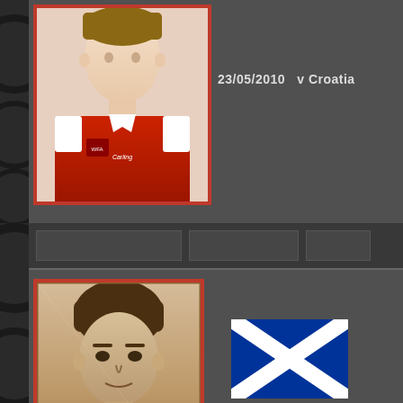[Figure (photo): Partial view of a footballer in a red Wales jersey, top portion of card]
23/05/2010   v Croatia
[Figure (photo): Vintage sepia portrait photo of James Hamilton in a card with red border]
[Figure (illustration): Scotland flag - blue background with white saltire cross]
James Hamilton
1 Cap
01/03/1924   v N.Ireland
[Figure (photo): Partial view of another player photo at bottom of page with Scotland flag partially visible]